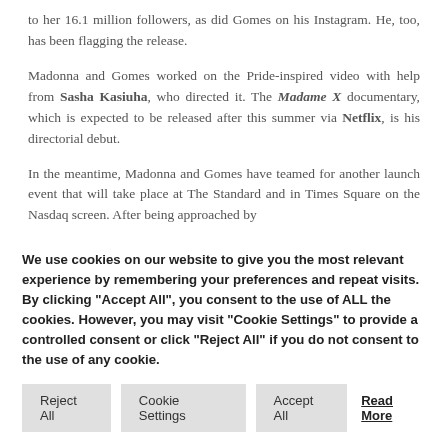to her 16.1 million followers, as did Gomes on his Instagram. He, too, has been flagging the release.
Madonna and Gomes worked on the Pride-inspired video with help from Sasha Kasiuha, who directed it. The Madame X documentary, which is expected to be released after this summer via Netflix, is his directorial debut.
In the meantime, Madonna and Gomes have teamed for another launch event that will take place at The Standard and in Times Square on the Nasdaq screen. After being approached by
We use cookies on our website to give you the most relevant experience by remembering your preferences and repeat visits. By clicking "Accept All", you consent to the use of ALL the cookies. However, you may visit "Cookie Settings" to provide a controlled consent or click "Reject All" if you do not consent to the use of any cookie.
Reject All | Cookie Settings | Accept All | Read More